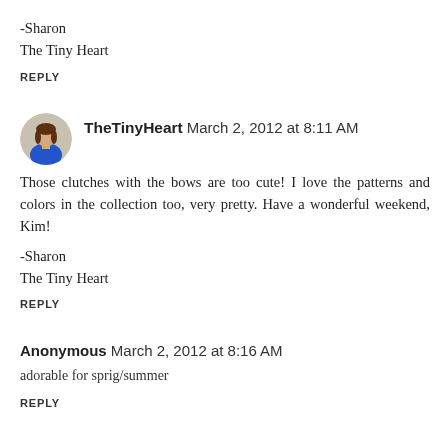-Sharon
The Tiny Heart
REPLY
TheTinyHeart  March 2, 2012 at 8:11 AM
Those clutches with the bows are too cute! I love the patterns and colors in the collection too, very pretty. Have a wonderful weekend, Kim!

-Sharon
The Tiny Heart
REPLY
Anonymous  March 2, 2012 at 8:16 AM
adorable for sprig/summer
REPLY